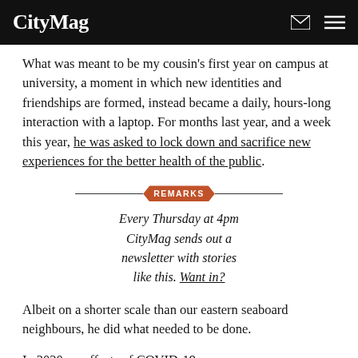CityMag
What was meant to be my cousin's first year on campus at university, a moment in which new identities and friendships are formed, instead became a daily, hours-long interaction with a laptop. For months last year, and a week this year, he was asked to lock down and sacrifice new experiences for the better health of the public.
[Figure (infographic): REMARKS newsletter promotional banner with decorative horizontal lines and hexagonal badge]
Every Thursday at 4pm CityMag sends out a newsletter with stories like this. Want in?
Albeit on a shorter scale than our eastern seaboard neighbours, he did what needed to be done.
In 2020, as effects of COVID-19 were...